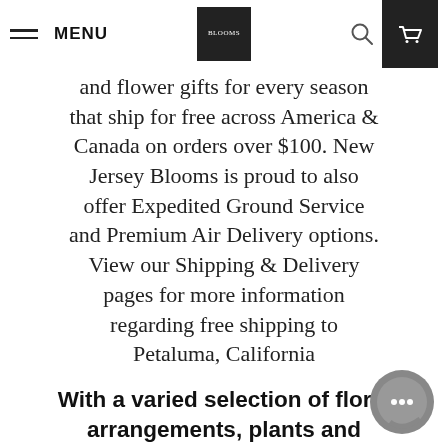MENU | BLOOMS LOGO | search | cart
and flower gifts for every season that ship for free across America & Canada on orders over $100. New Jersey Blooms is proud to also offer Expedited Ground Service and Premium Air Delivery options. View our Shipping & Delivery pages for more information regarding free shipping to Petaluma, California
With a varied selection of floral arrangements, plants and gourmet gifts you're sure to find the perfect gift for any occasion